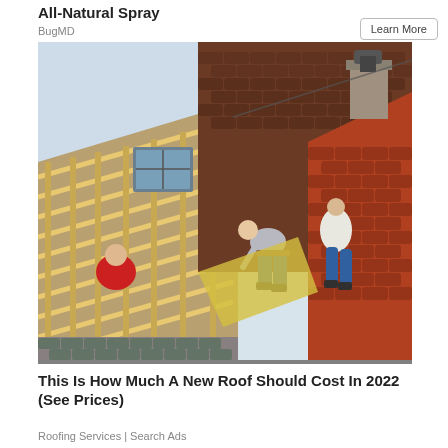All-Natural Spray
BugMD
Learn More
[Figure (photo): Workers installing/repairing a roof. Two workers are visible on a partially stripped roof showing wooden slats and supports, with dark brown tiles on one section and red/terracotta tiles on another section.]
This Is How Much A New Roof Should Cost In 2022 (See Prices)
Roofing Services | Search Ads